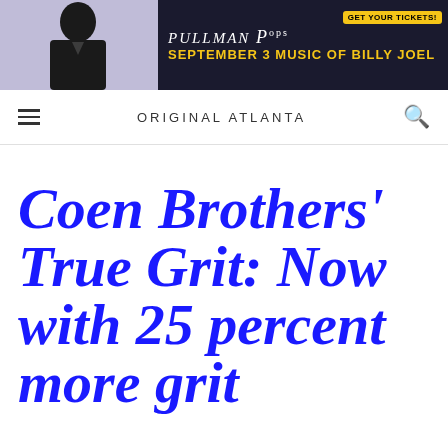[Figure (screenshot): Advertisement banner for Pullman Pops concert featuring Billy Joel music on September 3, with a 'Get Your Tickets!' button and dark background with performer silhouette.]
ORIGINAL ATLANTA
Coen Brothers' True Grit: Now with 25 percent more grit